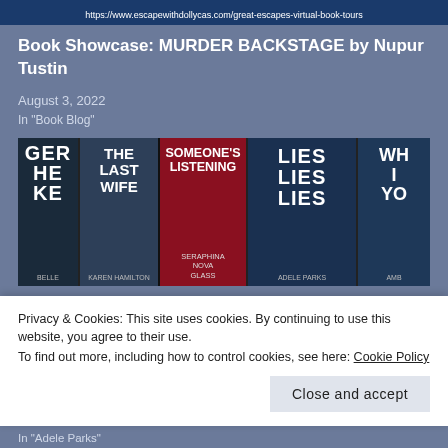https://www.escapewithdollycas.com/great-escapes-virtual-book-tours
Book Showcase: MURDER BACKSTAGE by Nupur Tustin
August 3, 2022
In "Book Blog"
[Figure (photo): Photo of several book spines arranged side by side: partial titles visible include GER/HE/KE, THE LAST WIFE by Karen Hamilton, SOMEONE'S LISTENING by Seraphina Nova Glass, LIES LIES LIES by Adele Parks, and WH/I/YO partially visible]
Privacy & Cookies: This site uses cookies. By continuing to use this website, you agree to their use.
To find out more, including how to control cookies, see here: Cookie Policy
Close and accept
In "Adele Parks"